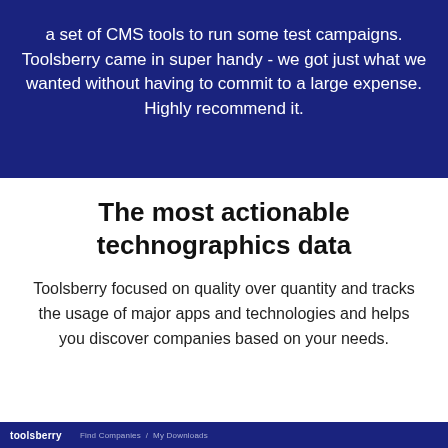a set of CMS tools to run some test campaigns. Toolsberry came in super handy - we got just what we wanted without having to commit to a large expense. Highly recommend it.
The most actionable technographics data
Toolsberry focused on quality over quantity and tracks the usage of major apps and technologies and helps you discover companies based on your needs.
toolsberry   Find Companies  My Downloads